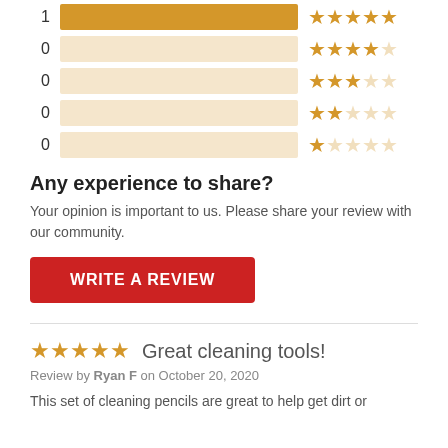[Figure (bar-chart): Rating distribution]
Any experience to share?
Your opinion is important to us. Please share your review with our community.
WRITE A REVIEW
Great cleaning tools!
Review by Ryan F on October 20, 2020
This set of cleaning pencils are great to help get dirt or